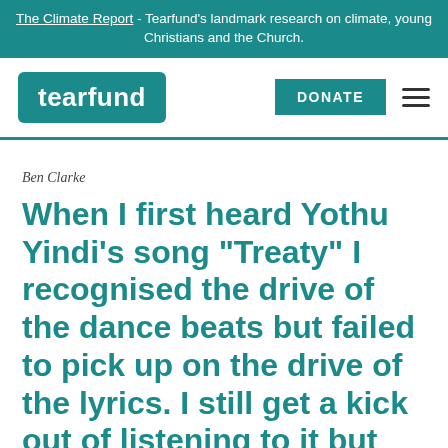The Climate Report - Tearfund's landmark research on climate, young Christians and the Church.
[Figure (logo): Tearfund logo in teal box, DONATE button, and hamburger menu icon]
Ben Clarke
When I first heard Yothu Yindi’s song “Treaty” I recognised the drive of the dance beats but failed to pick up on the drive of the lyrics. I still get a kick out of listening to it but now I see